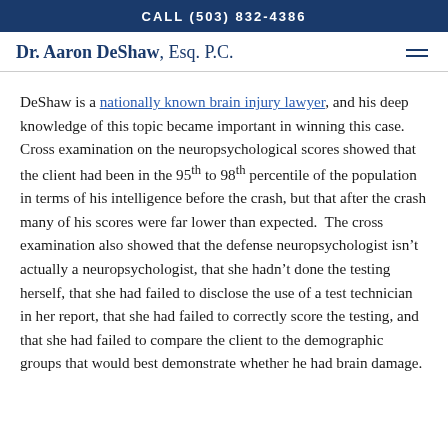CALL (503) 832-4386
Dr. Aaron DeShaw, Esq. P.C.
DeShaw is a nationally known brain injury lawyer, and his deep knowledge of this topic became important in winning this case. Cross examination on the neuropsychological scores showed that the client had been in the 95th to 98th percentile of the population in terms of his intelligence before the crash, but that after the crash many of his scores were far lower than expected. The cross examination also showed that the defense neuropsychologist isn’t actually a neuropsychologist, that she hadn’t done the testing herself, that she had failed to disclose the use of a test technician in her report, that she had failed to correctly score the testing, and that she had failed to compare the client to the demographic groups that would best demonstrate whether he had brain damage.